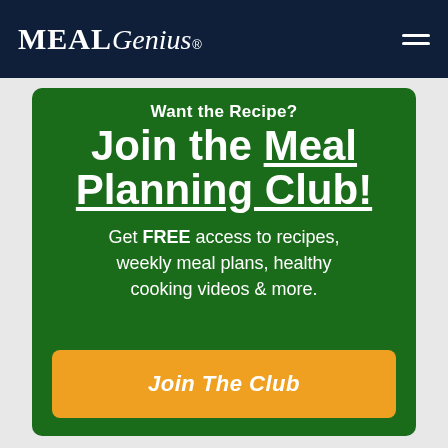MealGenius®
Want the Recipe?
Join the Meal Planning Club!
Get FREE access to recipes, weekly meal plans, healthy cooking videos & more.
Join The Club